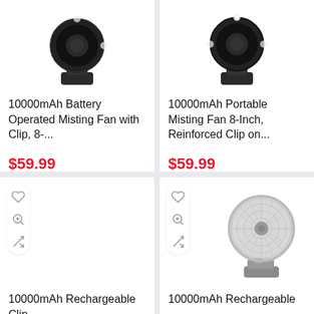[Figure (photo): Product photo of 10000mAh Battery Operated Misting Fan with Clip, 8-inch, dark colored fan with clip base]
10000mAh Battery Operated Misting Fan with Clip, 8-...
$59.99
[Figure (photo): Product photo of 10000mAh Portable Misting Fan 8-Inch, Reinforced Clip on, dark colored circular fan]
10000mAh Portable Misting Fan 8-Inch, Reinforced Clip on...
$59.99
[Figure (photo): Product card for 10000mAh Rechargeable Clip fan, empty image area with wishlist/zoom/compare icons]
10000mAh Rechargeable Clip
[Figure (photo): Product photo of 10000mAh Rechargeable clip-on desk fan, silver/gray metallic finish with stand clip]
10000mAh Rechargeable